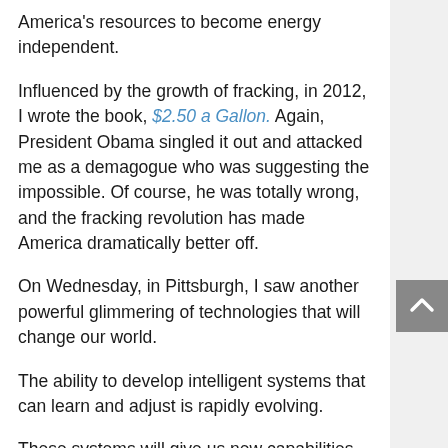America's resources to become energy independent.
Influenced by the growth of fracking, in 2012, I wrote the book, $2.50 a Gallon. Again, President Obama singled it out and attacked me as a demagogue who was suggesting the impossible. Of course, he was totally wrong, and the fracking revolution has made America dramatically better off.
On Wednesday, in Pittsburgh, I saw another powerful glimmering of technologies that will change our world.
The ability to develop intelligent systems that can learn and adjust is rapidly evolving.
These systems will give us new capabilities and new insights in ways we have never imagined.
In a few brief hours at Carnegie Mellon, I saw a voice